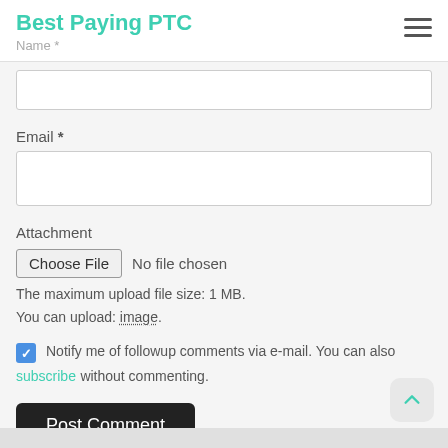Best Paying PTC
Name *
Email *
Attachment
Choose File   No file chosen
The maximum upload file size: 1 MB.
You can upload: image.
Notify me of followup comments via e-mail. You can also subscribe without commenting.
Post Comment